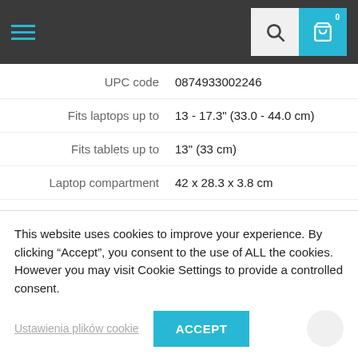Navigation bar with hamburger menu, search button, and cart button (0 items)
| Attribute | Value |
| --- | --- |
| UPC code | 0874933002246 |
| Fits laptops up to | 13 - 17.3" (33.0 - 44.0 cm) |
| Fits tablets up to | 13" (33 cm) |
| Laptop compartment | 42 x 28.3 x 3.8 cm |
| External dimensions | 48 x 34 x 23 cm |
| Capacity | 32 l |
This website uses cookies to improve your experience. By clicking “Accept”, you consent to the use of ALL the cookies. However you may visit Cookie Settings to provide a controlled consent.
Ustawienia plików cookie
ACCEPT